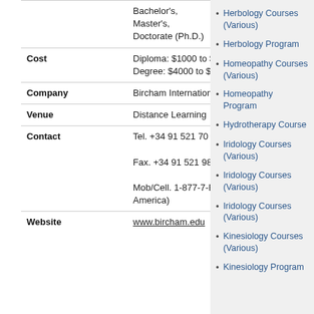| Field | Value |
| --- | --- |
|  | Bachelor's,
Master's,
Doctorate (Ph.D.) |
| Cost | Diploma: $1000 to $1400 US.
Degree: $4000 to $7000 |
| Company | Bircham International University |
| Venue | Distance Learning |
| Contact | Tel. +34 91 521 70 09
Fax. +34 91 521 98 27
Mob/Cell. 1-877-7-BIU USA (Toll Free North America) |
| Website | www.bircham.edu |
Herbology Courses (Various)
Herbology Program
Homeopathy Courses (Various)
Homeopathy Program
Hydrotherapy Course
Iridology Courses (Various)
Iridology Courses (Various)
Iridology Courses (Various)
Kinesiology Courses (Various)
Kinesiology Program